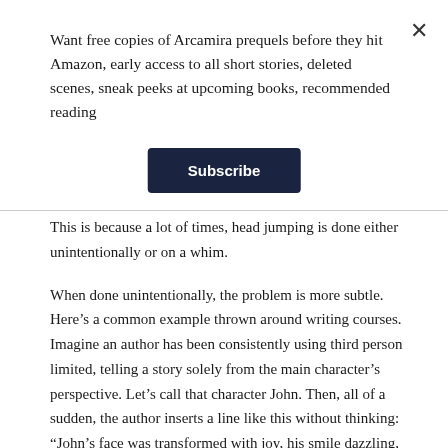Want free copies of Arcamira prequels before they hit Amazon, early access to all short stories, deleted scenes, sneak peeks at upcoming books, recommended reading
Subscribe
This is because a lot of times, head jumping is done either unintentionally or on a whim.
When done unintentionally, the problem is more subtle. Here’s a common example thrown around writing courses. Imagine an author has been consistently using third person limited, telling a story solely from the main character’s perspective. Let’s call that character John. Then, all of a sudden, the author inserts a line like this without thinking: “John’s face was transformed with joy, his smile dazzling, green eyes glittering” The problem (beside it being a little